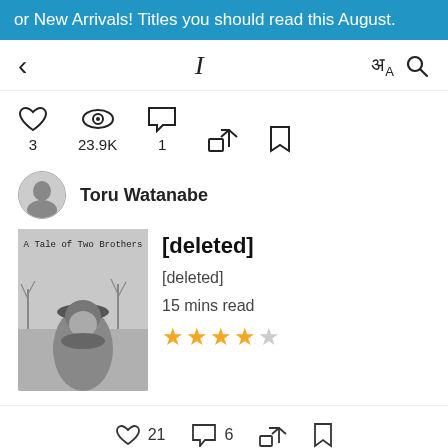or New Arrivals! Titles you should read this August.
< I अ A [search icon]
3  23.9K  1
Toru Watanabe
[Figure (photo): Book cover titled 'A Tale of Two Brothers' showing a black and white photo of a young boy wearing a flat cap and scarf]
[deleted]
[deleted]
15 mins read
★★★★☆ (4 out of 5 stars)
♡ 21  💬 6  share  bookmark